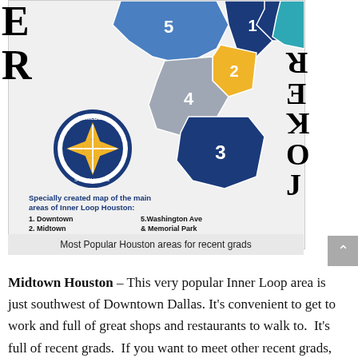[Figure (map): A specially created map of the main areas of Inner Loop Houston, showing 7 color-coded districts: 1 Downtown (dark blue, top right), 2 Midtown (gold/yellow, center right), 3 Museum District (dark navy, center), 4 Montrose (gray, center), 5 Washington Ave & Memorial Park (medium blue, top center), 6 The Heights (teal, top right corner), 7 EaDo (small, right side). HomeBase Services logo (blue circle with gold compass cross) shown in lower left of map. Legend lists all 7 areas.]
Most Popular Houston areas for recent grads
Midtown Houston – This very popular Inner Loop area is just southwest of Downtown Dallas. It's convenient to get to work and full of great shops and restaurants to walk to.  It's full of recent grads.  If you want to meet other recent grads, you can't go